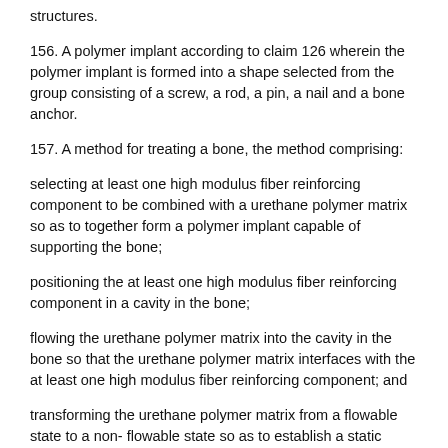structures.
156. A polymer implant according to claim 126 wherein the polymer implant is formed into a shape selected from the group consisting of a screw, a rod, a pin, a nail and a bone anchor.
157. A method for treating a bone, the method comprising:
selecting at least one high modulus fiber reinforcing component to be combined with a urethane polymer matrix so as to together form a polymer implant capable of supporting the bone;
positioning the at least one high modulus fiber reinforcing component in a cavity in the bone;
flowing the urethane polymer matrix into the cavity in the bone so that the urethane polymer matrix interfaces with the at least one high modulus fiber reinforcing component; and
transforming the urethane polymer matrix from a flowable state to a non- flowable state so as to establish a static structure for the polymer implant, such that the polymer implant supports the adjacent bone.